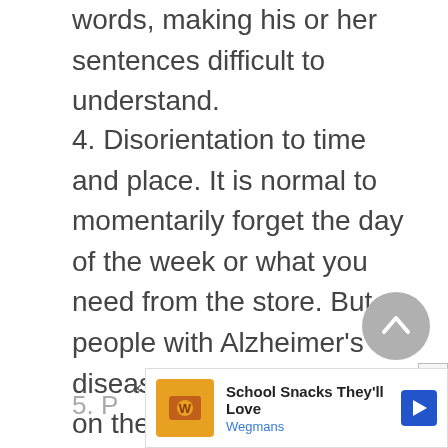words, making his or her sentences difficult to understand.
4. Disorientation to time and place. It is normal to momentarily forget the day of the week or what you need from the store. But people with Alzheimer's disease can become lost on their own street, not knowing where they are, how they got there or how to get back home.
5. P...